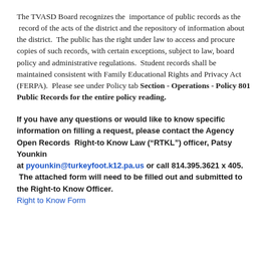The TVASD Board recognizes the importance of public records as the record of the acts of the district and the repository of information about the district. The public has the right under law to access and procure copies of such records, with certain exceptions, subject to law, board policy and administrative regulations. Student records shall be maintained consistent with Family Educational Rights and Privacy Act (FERPA). Please see under Policy tab Section - Operations - Policy 801 Public Records for the entire policy reading.
If you have any questions or would like to know specific information on filling a request, please contact the Agency Open Records Right-to Know Law (“RTKL”) officer, Patsy Younkin at pyounkin@turkeyfoot.k12.pa.us or call 814.395.3621 x 405. The attached form will need to be filled out and submitted to the Right-to Know Officer. Right to Know Form